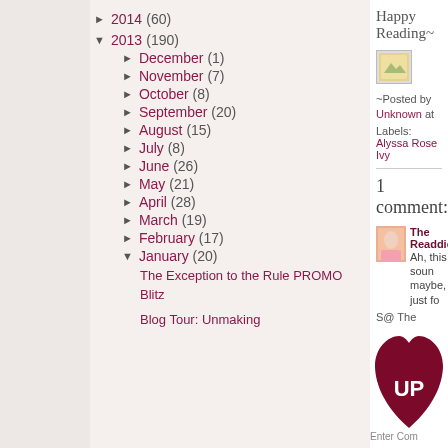► 2014 (60)
▼ 2013 (190)
► December (1)
► November (7)
► October (8)
► September (20)
► August (15)
► July (8)
► June (26)
► May (21)
► April (28)
► March (19)
► February (17)
▼ January (20)
The Exception to the Rule PROMO Blitz
Blog Tour: Unmaking
Happy Reading~
~Posted by Unknown at
Labels: Alyssa Rose Ivy
1 comment:
The Readdict
Ah, this soun maybe, just fo
S @ The
Enter Com